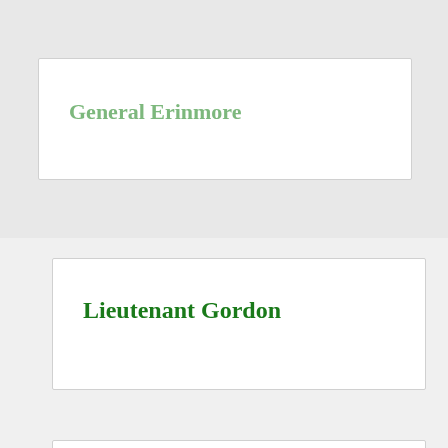General Erinmore
Lieutenant Gordon
Sergeant Miller
NCO Baker